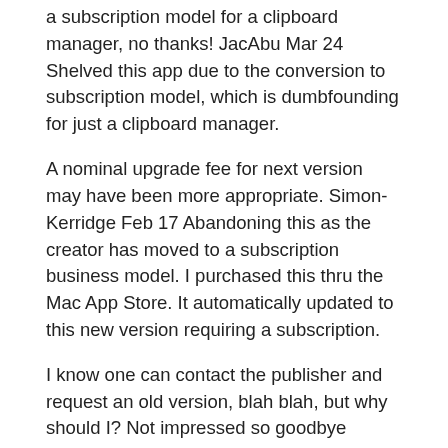a subscription model for a clipboard manager, no thanks! JacAbu Mar 24 Shelved this app due to the conversion to subscription model, which is dumbfounding for just a clipboard manager.
A nominal upgrade fee for next version may have been more appropriate. Simon-Kerridge Feb 17 Abandoning this as the creator has moved to a subscription business model. I purchased this thru the Mac App Store. It automatically updated to this new version requiring a subscription.
I know one can contact the publisher and request an old version, blah blah, but why should I? Not impressed so goodbye Paste. Veryvito Feb 13 I guess these reviews are for the benefit of new users, in which case I can say, yes, the app works as advertised.
I'm fine with people getting paid, but the subscription version should have been an entirely new version. Now, everyone's paid app is useless. JamesHarrisPhoto Feb 11 Although I was put off at first with the change to the subscription model, this app was TOO valuable to my everyday workflow. There isn't another clipboard app that even